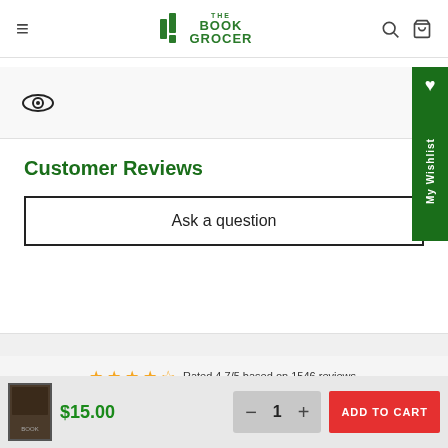THE BOOK GROCER
[Figure (illustration): Eye icon/logo symbol]
Customer Reviews
Ask a question
Rated 4.7/5 based on 1546 reviews.
[Figure (logo): Judge.me logo]
$15.00
ADD TO CART